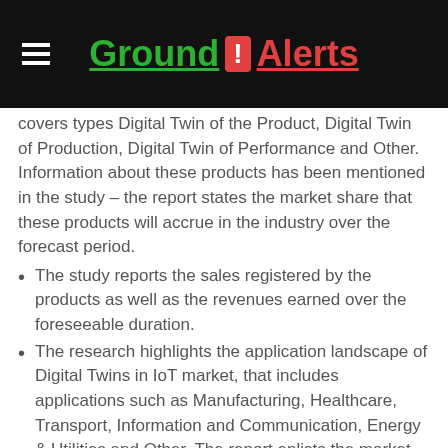Ground ! Alerts
covers types Digital Twin of the Product, Digital Twin of Production, Digital Twin of Performance and Other. Information about these products has been mentioned in the study – the report states the market share that these products will accrue in the industry over the forecast period.
The study reports the sales registered by the products as well as the revenues earned over the foreseeable duration.
The research highlights the application landscape of Digital Twins in IoT market, that includes applications such as Manufacturing, Healthcare, Transport, Information and Communication, Energy & Utilities and Other. The report enlists the market share accrued by the application segment.
The revenues accumulated by these applications as well as the sales projections for the projected timeframe are also included in the report.
The study also deals with important factors like the